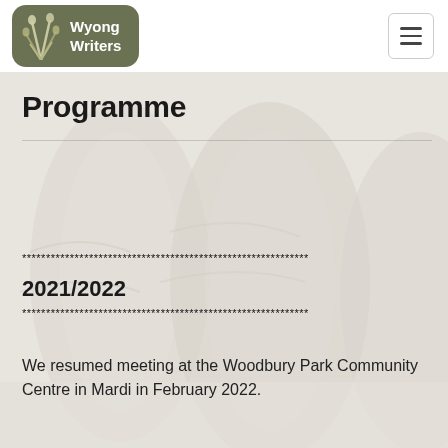Wyong Writers
Programme
************************************************************
2021/2022
************************************************************
We resumed meeting at the Woodbury Park Community Centre in Mardi in February 2022.